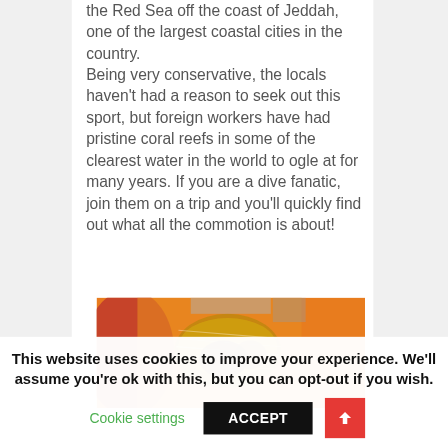the Red Sea off the coast of Jeddah, one of the largest coastal cities in the country.
Being very conservative, the locals haven't had a reason to seek out this sport, but foreign workers have had pristine coral reefs in some of the clearest water in the world to ogle at for many years. If you are a dive fanatic, join them on a trip and you'll quickly find out what all the commotion is about!
[Figure (photo): Partial view of a food photograph, appears to show rice or noodles with other food items in warm orange/red tones]
This website uses cookies to improve your experience. We'll assume you're ok with this, but you can opt-out if you wish.
Cookie settings
ACCEPT